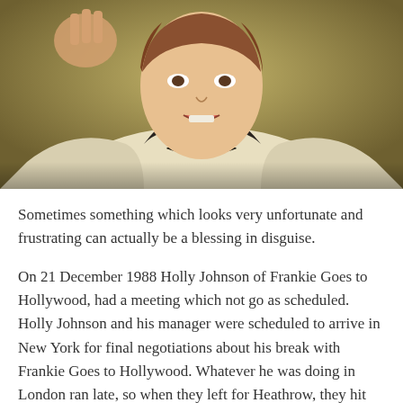[Figure (photo): Close-up photo of a young man wearing a tuxedo with a bow tie that has dollar sign symbols on it, seemingly speaking or singing, with hands raised, against a yellowish-green background.]
Sometimes something which looks very unfortunate and frustrating can actually be a blessing in disguise.
On 21 December 1988 Holly Johnson of Frankie Goes to Hollywood, had a meeting which not go as scheduled. Holly Johnson and his manager were scheduled to arrive in New York for final negotiations about his break with Frankie Goes to Hollywood. Whatever he was doing in London ran late, so when they left for Heathrow, they hit rush hour traffic. Johnson's ticket was for Pan Am 103, but